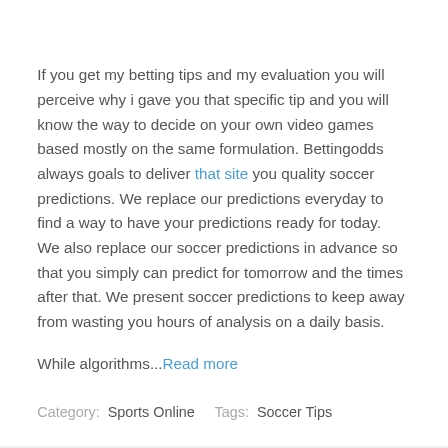If you get my betting tips and my evaluation you will perceive why i gave you that specific tip and you will know the way to decide on your own video games based mostly on the same formulation. Bettingodds always goals to deliver that site you quality soccer predictions. We replace our predictions everyday to find a way to have your predictions ready for today. We also replace our soccer predictions in advance so that you simply can predict for tomorrow and the times after that. We present soccer predictions to keep away from wasting you hours of analysis on a daily basis.
While algorithms...Read more
Category:  Sports Online    Tags:  Soccer Tips